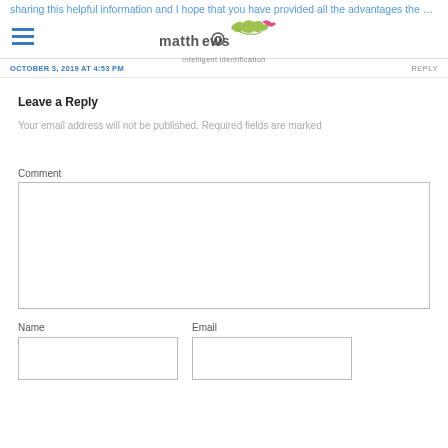sharing this helpful information and I hope that you have provided all the advantages the proper care of each
OCTOBER 3, 2019 AT 4:53 PM
REPLY
Leave a Reply
Your email address will not be published. Required fields are marked
Comment
Name
Email